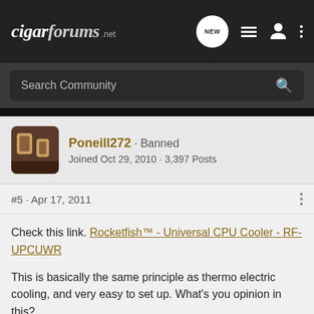cigarforums.net
Search Community
Poneill272 · Banned
Joined Oct 29, 2010 · 3,397 Posts
#5 · Apr 17, 2011
Check this link. Rocketfish™ - Universal CPU Cooler - RF-UPCUWR
This is basically the same principle as thermo electric cooling, and very easy to set up. What's you opinion in this?
Try again. Fail better.
:smoke2: 😀 oncorn: :smoke2: